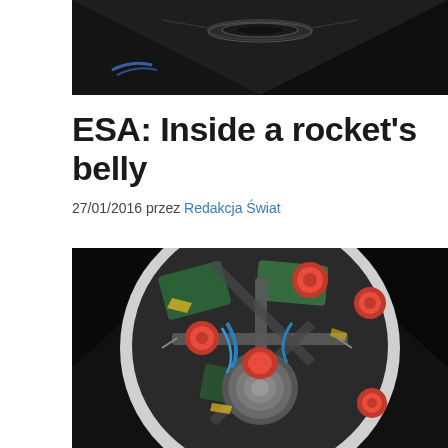[Figure (photo): Top view of rocket engine nozzle/thrust chamber from above, dark metallic background]
ESA: Inside a rocket’s belly
27/01/2016 przez Redakcja Świat
[Figure (photo): Top-down view inside a rocket showing internal components including red caps, circuit boards, blue wiring, and a central cylindrical nozzle]